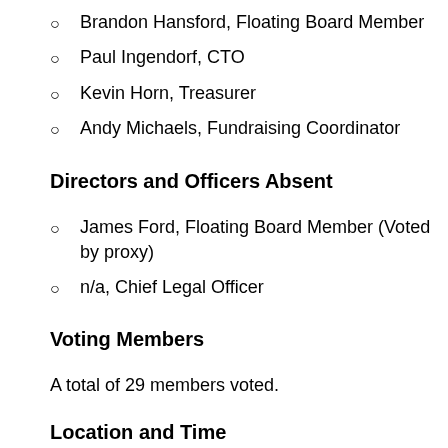Brandon Hansford, Floating Board Member
Paul Ingendorf, CTO
Kevin Horn, Treasurer
Andy Michaels, Fundraising Coordinator
Directors and Officers Absent
James Ford, Floating Board Member (Voted by proxy)
n/a, Chief Legal Officer
Voting Members
A total of 29 members voted.
Location and Time